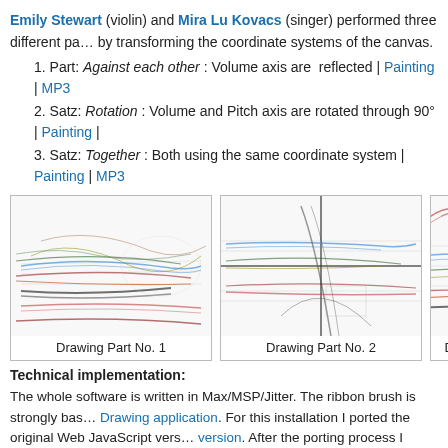Emily Stewart (violin) and Mira Lu Kovacs (singer) performed three different parts by transforming the coordinate systems of the canvas.
1. Part: Against each other : Volume axis are reflected | Painting | MP3
2. Satz: Rotation : Volume and Pitch axis are rotated through 90° | Painting |
3. Satz: Together : Both using the same coordinate system | Painting | MP3
[Figure (illustration): Drawing Part No. 1 - colorful ribbon brush strokes on white canvas]
[Figure (illustration): Drawing Part No. 2 - colorful ribbon brush strokes with coordinate axes visible]
[Figure (illustration): Drawing Part No. [3] - partial view of colorful ribbon brush strokes]
Drawing Part No. 1
Drawing Part No. 2
Drawing P[art No. 3]
Technical implementation:
The whole software is written in Max/MSP/Jitter. The ribbon brush is strongly based on the Drawing application. For this installation I ported the original Web JavaScript version. After the porting process I extended the application with a multiple brush possible to use several brushes at the same time. The sound and pitch tracking is object Fiddler. This object works nice for voices and string instruments. Also the of the Fiddler object in combination with a pre-defined color set.
Equipment: